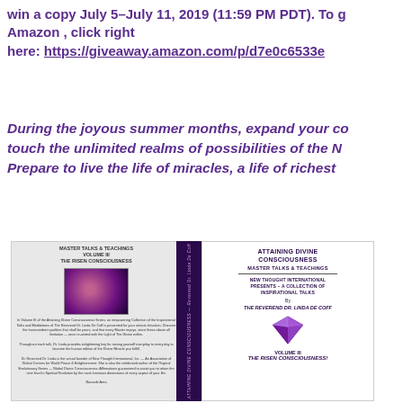win a copy July 5–July 11, 2019 (11:59 PM PDT).  To g Amazon , click right here:  https://giveaway.amazon.com/p/d7e0c6533e
During the joyous summer months, expand your co touch the unlimited realms of possibilities of the N Prepare to live the life of miracles, a life of richest
[Figure (illustration): Two book covers shown side by side. Left: a grey paperback with title 'MASTER TALKS & TEACHINGS VOLUME III THE RISEN CONSCIOUSNESS' with a purple-toned portrait photo. Right: Book spine and front cover of 'ATTAINING DIVINE CONSCIOUSNESS MASTER TALKS & TEACHINGS' by THE REVEREND DR. LINDA DE COFF, VOLUME III THE RISEN CONSCIOUSNESS!, with a purple diamond gemstone image.]
To read all a & III of Dr. Li 3 Volume Ser DIVINE CONS Click Right H Descriptions in Volumes I, Previews